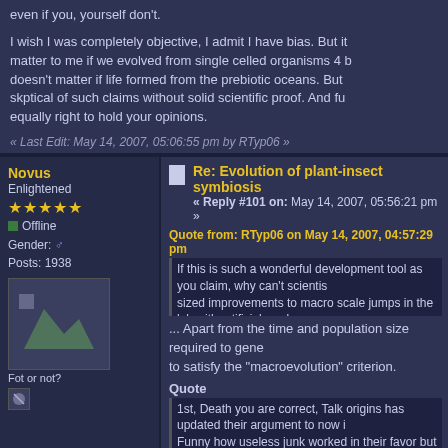even if you, yourself don't.
I wish I was completely objective, I admit I have bias. But it doesn't matter to me if we evolved from single celled organisms 4 b... doesn't matter if life formed from the prebiotic oceans. But I am skptical of such claims without solid scientific proof. And fu... equally right to hold your opinions.
« Last Edit: May 14, 2007, 05:06:55 pm by RTyp06 »
Novus
Enlightened
★★★★★
Offline
Gender: ♂
Posts: 1938
Fot or not?
Re: Evolution of plant-insect symbiosis
« Reply #101 on: May 14, 2007, 05:56:21 pm »
Quote from: RTyp06 on May 14, 2007, 04:57:29 pm
If this is such a wonderful development tool as you claim, why can't scientists... sized improvements to macro scale jumps in the lab with artificial random m... There is no reason why they shouldn't be able to do this if evolution procee...
... Apart from the time and population size required to gene... to satisfy the "macroevolution" criterion.
Quote
1st, Death you are correct, Talk origins has updated their argument to now i... Funny how useless junk worked in their favor but now, wow, functional "jun... their favor as well. Ever notice how all scientifc discovery just goes to show... mutaion and natural selection is? There is absolutely nothing to discover tha...
Unfalsifiable? If there were no junk DNA at all, that would b... evolution (and a good argument for irreducible complexity,... large amounts of junk DNA, on the other hand, make sens... framework if they allow some other advantage (such as be... mutation!).